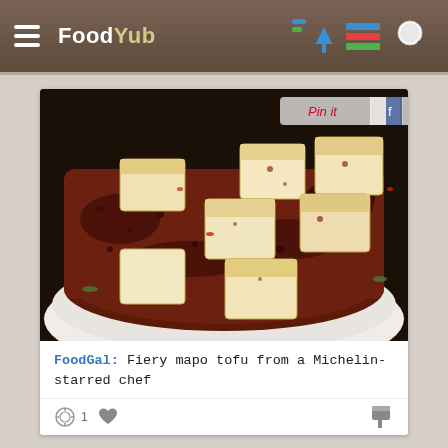Food Yub
[Figure (photo): Close-up photo of mapo tofu dish: cubes of tofu in dark spicy reddish-brown sauce with minced meat, served in a white bowl]
FoodGal: Fiery mapo tofu from a Michelin-starred chef
1